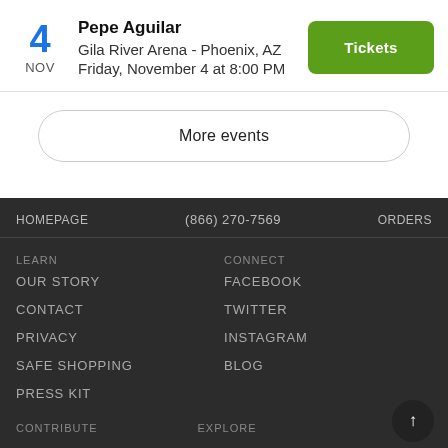4 NOV | Pepe Aguilar | Gila River Arena - Phoenix, AZ | Friday, November 4 at 8:00 PM | Tickets
More events
HOMEPAGE | (866) 270-7569 | ORDERS
LEARN
OUR STORY
CONTACT
PRIVACY
SAFE SHOPPING
PRESS KIT
CONNECT
FACEBOOK
TWITTER
INSTAGRAM
BLOG
CONTRIBUTE
EXPLORE